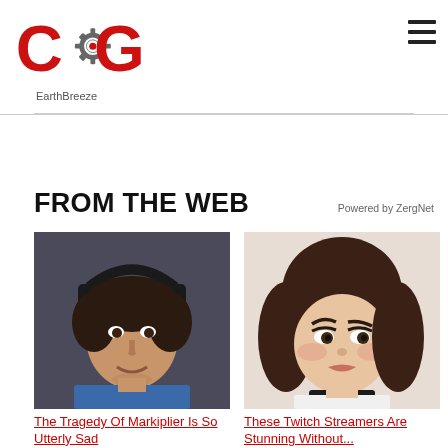COG logo, EarthBreeze
FROM THE WEB
Powered by ZergNet
[Figure (photo): Close-up photo of a young man with dark hair wearing headphones, smiling slightly, wearing a blue shirt — appears to be Markiplier, a YouTuber.]
The Tragedy Of Markiplier Is So Utterly Sad
[Figure (photo): Close-up photo of a young woman with dark brown hair and heavy makeup, wearing a black choker necklace — a Twitch streamer.]
These Twitch Streamers Are Stunning Without...